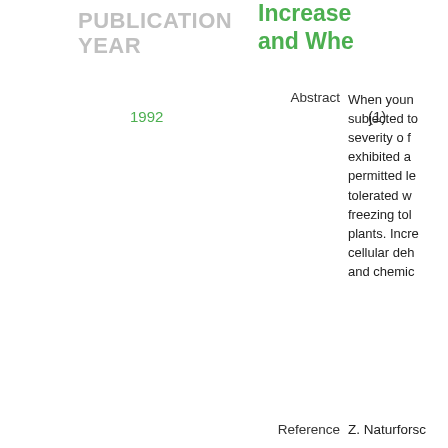PUBLICATION YEAR
1992   (1)
Increase... and Whe...
Abstract: When youn... subjected to... severity o f... exhibited a... permitted le... tolerated w... freezing tol... plants. Incre... cellular deh... and chemic...
Reference: Z. Naturforsc...
Published: 1992
Keywords: Barley, Chlo... Supercooling...
Similar Items: Find
Disclaimer